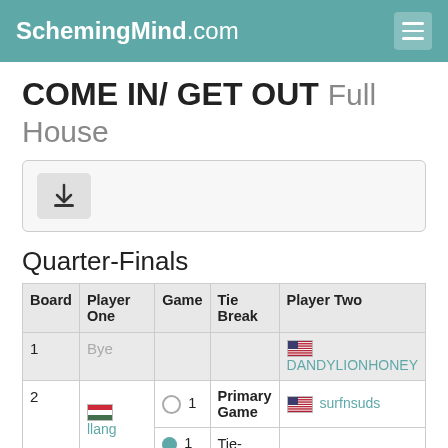SchemingMind.com
COME IN/ GET OUT Full House
[Figure (other): Download button icon in a light grey rounded box]
Quarter-Finals
| Board | Player One | Game | Tie Break | Player Two |
| --- | --- | --- | --- | --- |
| 1 | Bye |  |  | 🇺🇸 DANDYLIONHONEY |
| 2 | 🇭🇺 llang | ○ 1 | Primary Game | 🇺🇸 surfnsuds |
|  |  | ● 1 | Tie- |  |